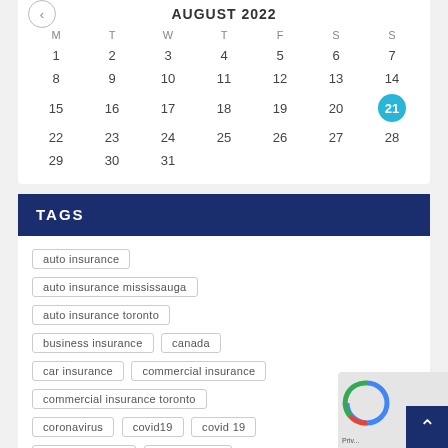[Figure (other): August 2022 calendar widget showing days 1-31 with day 21 highlighted in blue circle. Days of week headers: M T W T F S S]
TAGS
auto insurance
auto insurance mississauga
auto insurance toronto
business insurance
canada
car insurance
commercial insurance
commercial insurance toronto
coronavirus
covid19
covid 19
event insurance
homeowners